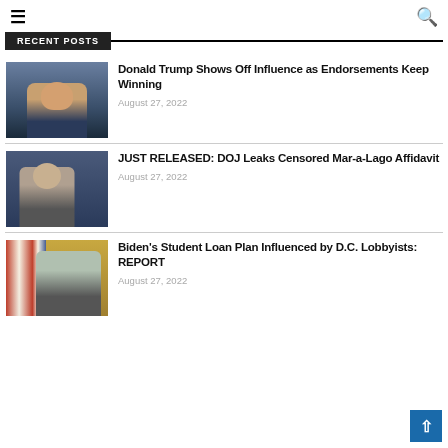≡ [hamburger menu] [search icon]
RECENT POSTS
[Figure (photo): Thumbnail photo of Donald Trump at podium]
Donald Trump Shows Off Influence as Endorsements Keep Winning
August 27, 2022
[Figure (photo): Thumbnail photo of Merrick Garland at Department of Justice podium]
JUST RELEASED: DOJ Leaks Censored Mar-a-Lago Affidavit
August 27, 2022
[Figure (photo): Thumbnail photo of Joe Biden at podium with American flag in background]
Biden's Student Loan Plan Influenced by D.C. Lobbyists: REPORT
August 27, 2022